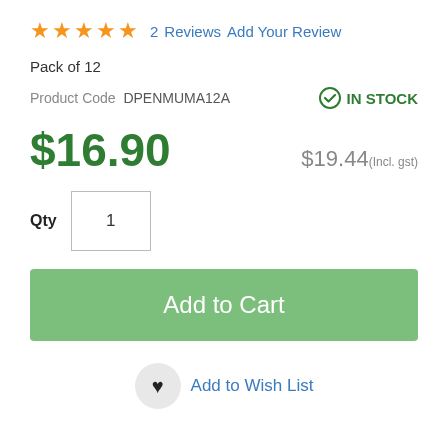★★★★★  2  Reviews  Add Your Review
Pack of 12
Product Code  DPENMUMA12A
IN STOCK
$16.90
$19.44 (Incl. gst)
Qty  1
Add to Cart
Add to Wish List